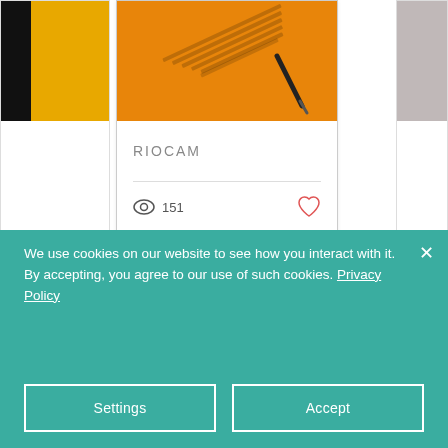[Figure (screenshot): A card displaying an orange-background image with angled shapes (possibly paper/book covers). The card shows the title RIOCAM with a view count of 151 and a heart icon. Two partial cards are visible on the left and right sides. Navigation dots appear below the cards.]
RIOCAM
151
We use cookies on our website to see how you interact with it. By accepting, you agree to our use of such cookies. Privacy Policy
Settings
Accept